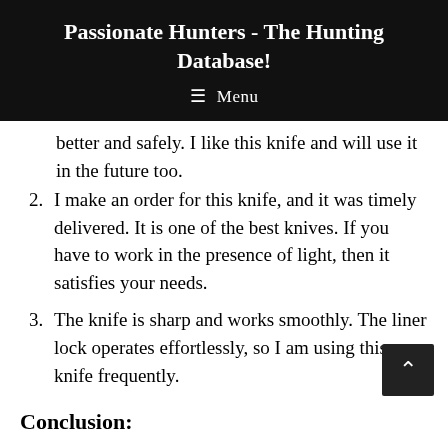Passionate Hunters - The Hunting Database!
≡ Menu
better and safely. I like this knife and will use it in the future too.
2. I make an order for this knife, and it was timely delivered. It is one of the best knives. If you have to work in the presence of light, then it satisfies your needs.
3. The knife is sharp and works smoothly. The liner lock operates effortlessly, so I am using this knife frequently.
Conclusion: